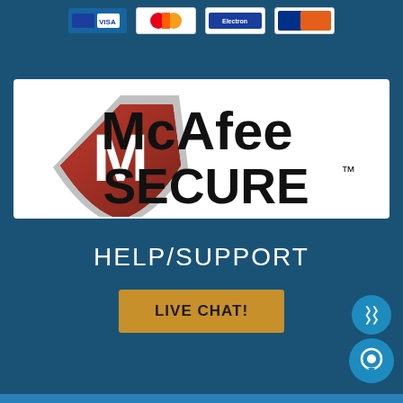[Figure (screenshot): Top row of payment method icons (credit card logos including Electron) on dark blue background]
[Figure (logo): McAfee SECURE logo on white background - red shield with white M letter and McAfee SECURE text in black]
HELP/SUPPORT
LIVE CHAT!
[Figure (other): Two overlapping blue circle buttons at bottom right: one with upward chevron arrows and one with chat bubble icon]